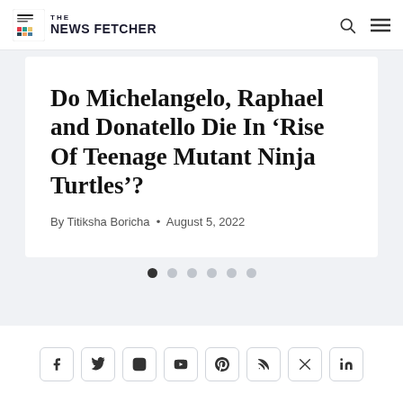THE NEWS FETCHER
Do Michelangelo, Raphael and Donatello Die In ‘Rise Of Teenage Mutant Ninja Turtles’?
By Titiksha Boricha • August 5, 2022
[Figure (other): Carousel navigation dots, six dots with the first one filled/active]
[Figure (other): Social media icon buttons: Facebook, Twitter/X, Instagram, YouTube, Pinterest, RSS, Email, LinkedIn]